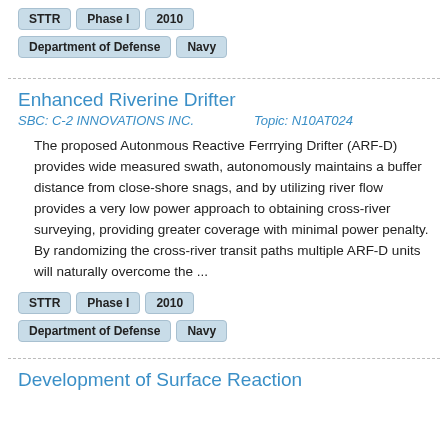STTR   Phase I   2010
Department of Defense   Navy
Enhanced Riverine Drifter
SBC: C-2 INNOVATIONS INC.   Topic: N10AT024
The proposed Autonmous Reactive Ferrrying Drifter (ARF-D) provides wide measured swath, autonomously maintains a buffer distance from close-shore snags, and by utilizing river flow provides a very low power approach to obtaining cross-river surveying, providing greater coverage with minimal power penalty. By randomizing the cross-river transit paths multiple ARF-D units will naturally overcome the ...
STTR   Phase I   2010
Department of Defense   Navy
Development of Surface Reaction